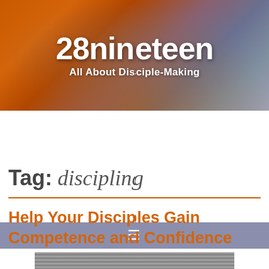[Figure (photo): Website header banner showing an architectural tunnel/arch with orange structural beams and glass ceiling, with overlaid site title and subtitle text]
28nineteen
All About Disciple-Making
≡
Posts tagged "discipling"
Tag:  discipling
Help Your Disciples Gain Competence and Confidence
[Figure (photo): Partial view of a grainy/textured dark photograph at the bottom of the page]